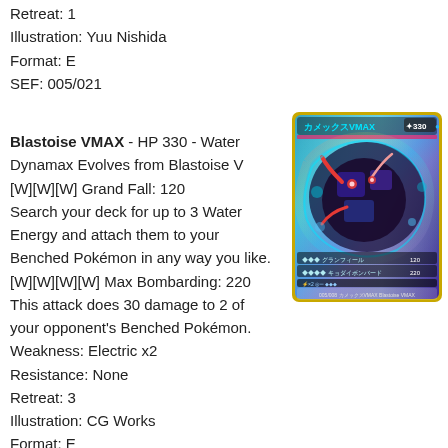Retreat: 1
Illustration: Yuu Nishida
Format: E
SEF: 005/021
Blastoise VMAX - HP 330 - Water Dynamax Evolves from Blastoise V [W][W][W] Grand Fall: 120 Search your deck for up to 3 Water Energy and attach them to your Benched Pokémon in any way you like. [W][W][W][W] Max Bombarding: 220 This attack does 30 damage to 2 of your opponent's Benched Pokémon. Weakness: Electric x2 Resistance: None Retreat: 3 Illustration: CG Works Format: E
[Figure (photo): Japanese Blastoise VMAX Pokemon card with rainbow/colorful art showing Blastoise in Dynamax form, card number 005/008, HP 330]
SEF: 002/020